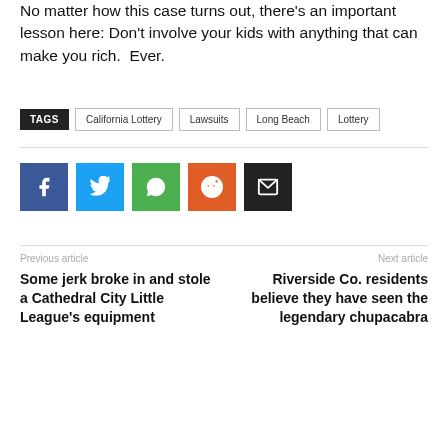No matter how this case turns out, there's an important lesson here: Don't involve your kids with anything that can make you rich.  Ever.
TAGS: California Lottery | Lawsuits | Long Beach | Lottery
[Figure (infographic): Social share buttons: Facebook (blue), Twitter (light blue), WhatsApp (green), Reddit (orange), Email (black)]
Previous article
Some jerk broke in and stole a Cathedral City Little League's equipment
Next article
Riverside Co. residents believe they have seen the legendary chupacabra